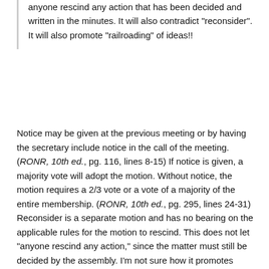misunderstanding this fact. ONLL issues, this seems to let anyone rescind any action that has been decided and written in the minutes. It will also contradict "reconsider". It will also promote "railroading" of ideas!!
Notice may be given at the previous meeting or by having the secretary include notice in the call of the meeting. (RONR, 10th ed., pg. 116, lines 8-15) If notice is given, a majority vote will adopt the motion. Without notice, the motion requires a 2/3 vote or a vote of a majority of the entire membership. (RONR, 10th ed., pg. 295, lines 24-31) Reconsider is a separate motion and has no bearing on the applicable rules for the motion to rescind. This does not let "anyone rescind any action," since the matter must still be decided by the assembly. I'm not sure how it promotes "'railroading' of ideas." As for the "call" issue, the intent of the rule is that all members are informed of the proposed motion to rescind, so those who have an opinion on the matter may come to the meeting.
Also note that RONR In Brief is written by the RONR authorship team, so if anything Ms. Zimmerman says conflicts with RONR In Brief, go with what is said in RONR In Brief. If you want the full